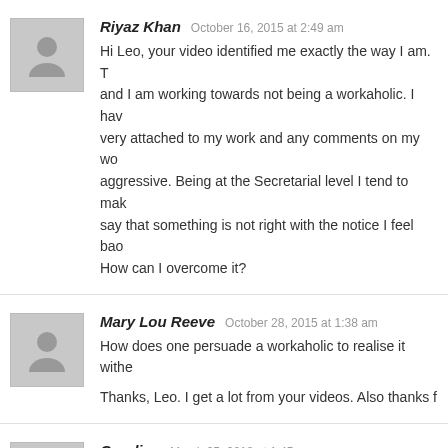Riyaz Khan — October 16, 2015 at 2:49 am — Hi Leo, your video identified me exactly the way I am. and I am working towards not being a workaholic. I have been very attached to my work and any comments on my work make me aggressive. Being at the Secretarial level I tend to make... say that something is not right with the notice I feel bad... How can I overcome it?
Mary Lou Reeve — October 28, 2015 at 1:38 am — How does one persuade a workaholic to realise it withe... Thanks, Leo. I get a lot from your videos. Also thanks f...
Caroline — March 25, 2018 at 1:45 pm